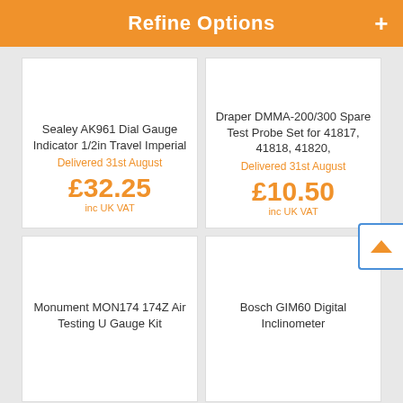Refine Options
Sealey AK961 Dial Gauge Indicator 1/2in Travel Imperial
Delivered 31st August
£32.25 inc UK VAT
Draper DMMA-200/300 Spare Test Probe Set for 41817, 41818, 41820,
Delivered 31st August
£10.50 inc UK VAT
Monument MON174 174Z Air Testing U Gauge Kit
Bosch GIM60 Digital Inclinometer